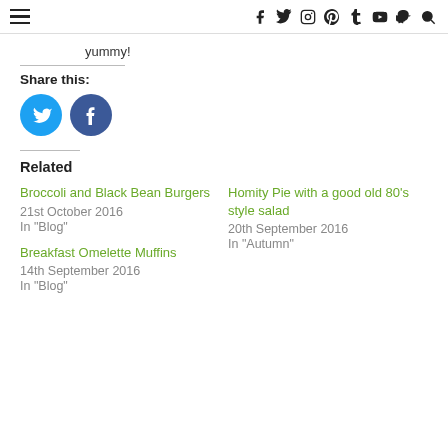≡  f  y  ⊙  𝐏  t  ▶  👻  🔍
yummy!
Share this:
[Figure (other): Twitter and Facebook share buttons (circular icons)]
Related
Broccoli and Black Bean Burgers
21st October 2016
In "Blog"
Homity Pie with a good old 80's style salad
20th September 2016
In "Autumn"
Breakfast Omelette Muffins
14th September 2016
In "Blog"